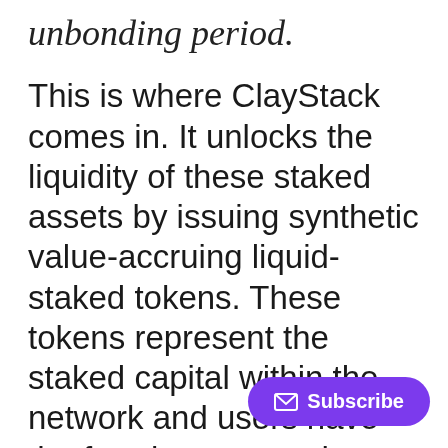unbonding period.
This is where ClayStack comes in. It unlocks the liquidity of these staked assets by issuing synthetic value-accruing liquid-staked tokens. These tokens represent the staked capital within the network and users have the freedom to use them in DeFi.
Thus, ClayStack not only helps